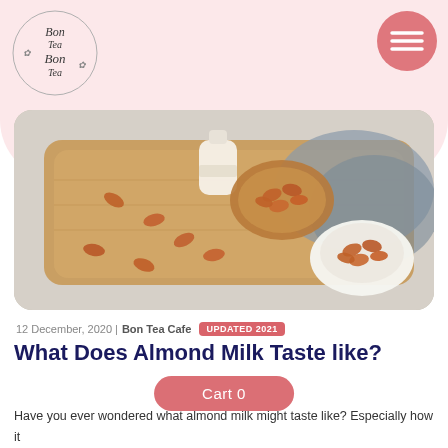[Figure (logo): Bon Tea Cafe circular logo with decorative script text]
[Figure (other): Hamburger/menu icon button with pink circular background]
[Figure (photo): Photo of almonds on a wooden cutting board with a jar of almond milk and bowl of almonds, gray cloth in background]
12 December, 2020 | Bon Tea Cafe UPDATED 2021
What Does Almond Milk Taste like?
Cart 0
Have you ever wondered what almond milk might taste like? Especially how it will taste like when you add it to your boba or bubble tea?